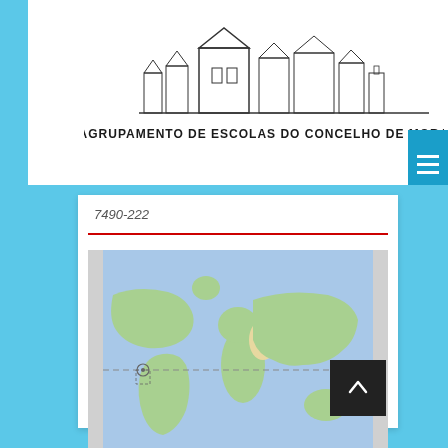[Figure (logo): Agrupamento de Escolas do Concelho de Mora school logo with illustration of buildings and text]
7490-222
[Figure (map): World map (Google Maps style) showing continents with a dashed horizontal line indicating equator and a small location marker]